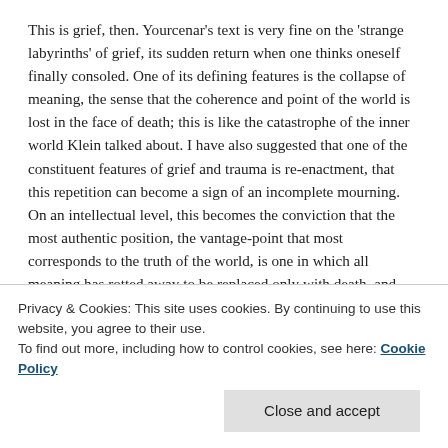This is grief, then. Yourcenar's text is very fine on the 'strange labyrinths' of grief, its sudden return when one thinks oneself finally consoled. One of its defining features is the collapse of meaning, the sense that the coherence and point of the world is lost in the face of death; this is like the catastrophe of the inner world Klein talked about. I have also suggested that one of the constituent features of grief and trauma is re-enactment, that this repetition can become a sign of an incomplete mourning. On an intellectual level, this becomes the conviction that the most authentic position, the vantage-point that most corresponds to the truth of the world, is one in which all meaning has rotted away to be replaced only with death, and one's involvement with death. I want to see how one
Privacy & Cookies: This site uses cookies. By continuing to use this website, you agree to their use.
To find out more, including how to control cookies, see here: Cookie Policy
Close and accept